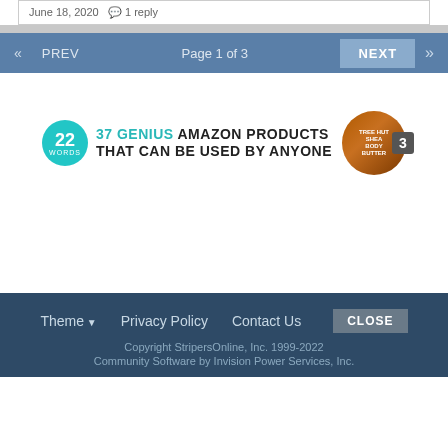June 18, 2020  1 reply
« PREV  Page 1 of 3  NEXT »
[Figure (infographic): Advertisement banner: 22 Words logo circle (teal) next to text '37 GENIUS AMAZON PRODUCTS THAT CAN BE USED BY ANYONE' with a product jar image on the right]
Theme ▾  Privacy Policy  Contact Us  CLOSE
Copyright StripersOnline, Inc. 1999-2022
Community Software by Invision Power Services, Inc.